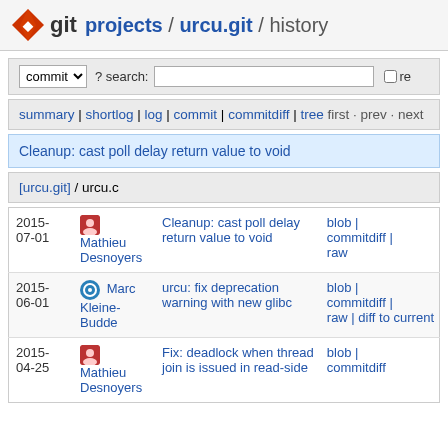git projects / urcu.git / history
commit ? search: re
summary | shortlog | log | commit | commitdiff | tree first · prev · next
Cleanup: cast poll delay return value to void
[urcu.git] / urcu.c
| Date | Author | Commit message | Links |
| --- | --- | --- | --- |
| 2015-07-01 | Mathieu Desnoyers | Cleanup: cast poll delay return value to void | blob | commitdiff | raw |
| 2015-06-01 | Marc Kleine-Budde | urcu: fix deprecation warning with new glibc | blob | commitdiff | raw | diff to current |
| 2015-04-25 | Mathieu Desnoyers | Fix: deadlock when thread join is issued in read-side | blob | commitdiff |